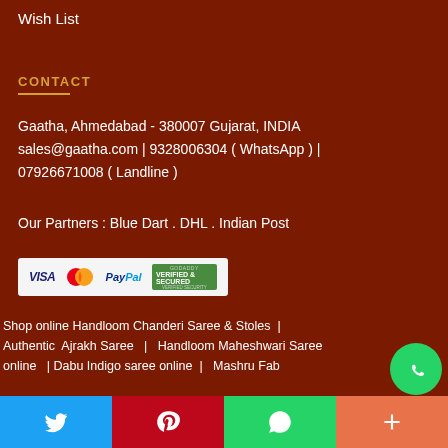Wish List
CONTACT
Gaatha, Ahmedabad - 380007 Gujarat, INDIA
sales@gaatha.com | 9328006304 ( WhatsApp ) | 07926671008 ( Landline )
Our Partners : Blue Dart . DHL . Indian Post
[Figure (other): Payment badges: VISA, Mastercard, PayPal, GoDaddy Verified & Secured]
Shop online Handloom Chanderi Saree & Stoles  |  Authentic  Ajrakh Saree  |  Handloom Maheshwari Saree online  |  Dabu Indigo saree online  |  Mashru Fab...
[Figure (other): WhatsApp floating chat button (green circle with WhatsApp icon)]
Twitter | Pinterest | WhatsApp | More (+)